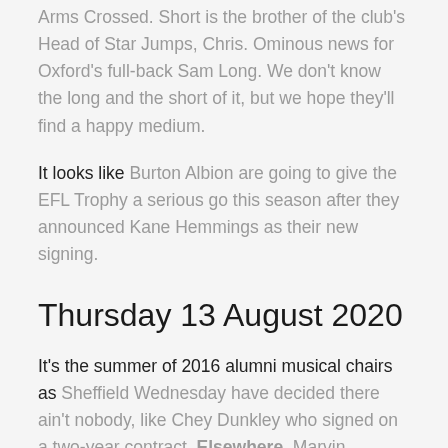Arms Crossed. Short is the brother of the club's Head of Star Jumps, Chris. Ominous news for Oxford's full-back Sam Long. We don't know the long and the short of it, but we hope they'll find a happy medium.
It looks like Burton Albion are going to give the EFL Trophy a serious go this season after they announced Kane Hemmings as their new signing.
Thursday 13 August 2020
It's the summer of 2016 alumni musical chairs as Sheffield Wednesday have decided there ain't nobody, like Chey Dunkley who signed on a two-year contract. Elsewhere, Marvin Johnson has signed a year's contract at Middlesborough; because someone has to keep the drinks bottles in order on